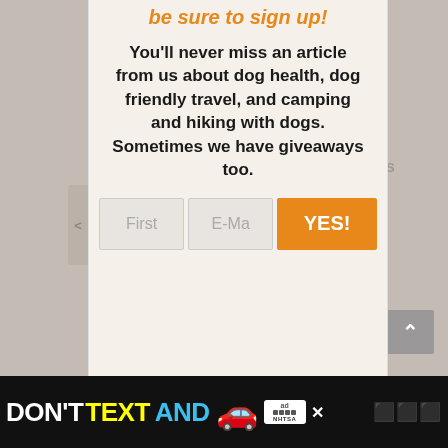be sure to sign up!
You'll never miss an article from us about dog health, dog friendly travel, and camping and hiking with dogs. Sometimes we have giveaways too.
[Figure (screenshot): Sign-up form with First name input field, E-Mail input field, and an orange YES! submit button]
[Figure (screenshot): Advertisement banner: DON'T TEXT AND [car emoji] with ad and NHTSA badges, and a close button. Partially visible at bottom of page.]